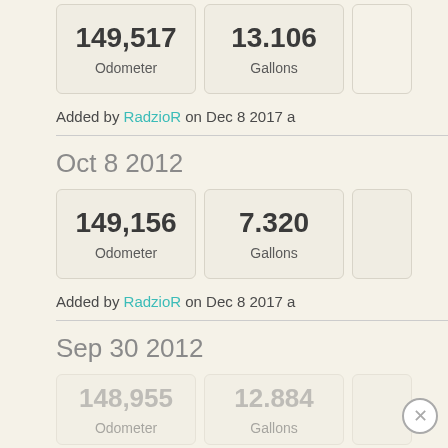| Value | Label |
| --- | --- |
| 149,517 | Odometer |
| 13.106 | Gallons |
Added by RadzioR on Dec 8 2017 a
Oct 8 2012
| Value | Label |
| --- | --- |
| 149,156 | Odometer |
| 7.320 | Gallons |
Added by RadzioR on Dec 8 2017 a
Sep 30 2012
| Value | Label |
| --- | --- |
| 148,955 | Odometer |
| 12.884 | Gallons |